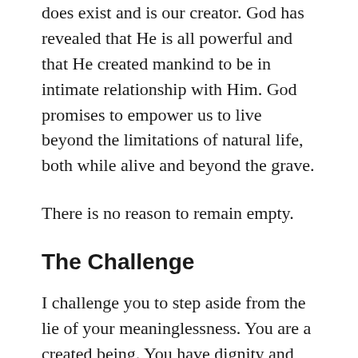does exist and is our creator. God has revealed that He is all powerful and that He created mankind to be in intimate relationship with Him. God promises to empower us to live beyond the limitations of natural life, both while alive and beyond the grave.
There is no reason to remain empty.
The Challenge
I challenge you to step aside from the lie of your meaninglessness. You are a created being. You have dignity and destiny which transcends anything ever conceivable within natural limits. You have offer of relationship which is beyond all that human experience can ever conceive. You have the open offer to become an intimate of the very divine entity who is all powerful, all loving, eternal, transcendent